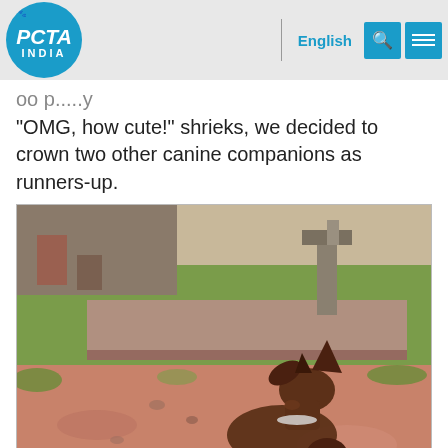PETA INDIA | English
"OMG, how cute!" shrieks, we decided to crown two other canine companions as runners-up.
[Figure (photo): A brown dachshund dog seen from behind/side, sitting on reddish-brown ground, with its head raised and pointed upward. Background shows a grassy yard with stone structures and a water pump.]